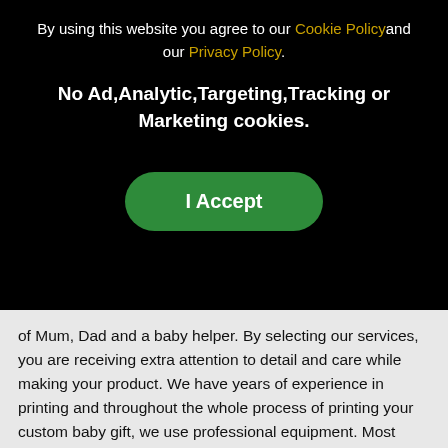By using this website you agree to our Cookie Policyand our Privacy Policy.
No Ad,Analytic,Targeting,Tracking or Marketing cookies.
I Accept
of Mum, Dad and a baby helper. By selecting our services, you are receiving extra attention to detail and care while making your product. We have years of experience in printing and throughout the whole process of printing your custom baby gift, we use professional equipment. Most importantly, we are